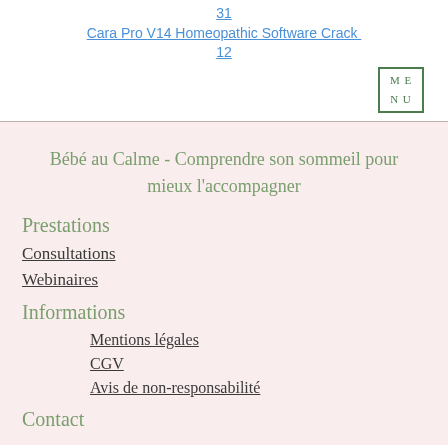31
Cara Pro V14 Homeopathic Software Crack 12
[Figure (other): MENU button with green border showing ME/NU text]
Bébé au Calme - Comprendre son sommeil pour mieux l'accompagner
Prestations
Consultations
Webinaires
Informations
Mentions légales
CGV
Avis de non-responsabilité
Contact